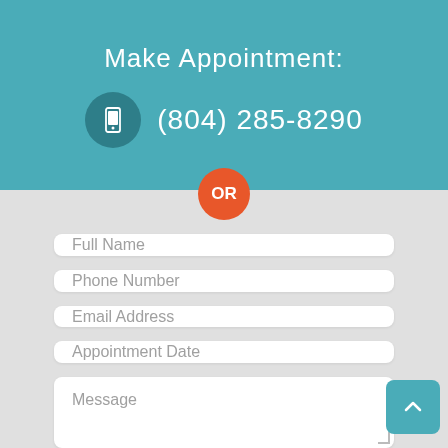Make Appointment:
(804) 285-8290
OR
Full Name
Phone Number
Email Address
Appointment Date
Message